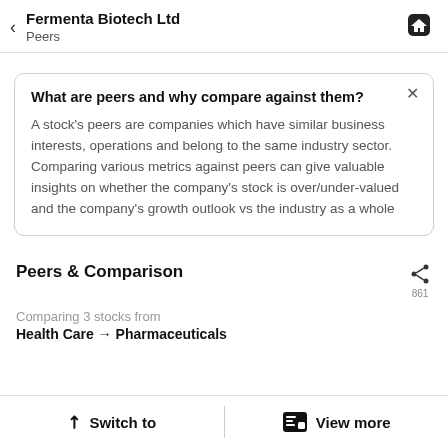Fermenta Biotech Ltd — Peers
What are peers and why compare against them?
A stock's peers are companies which have similar business interests, operations and belong to the same industry sector. Comparing various metrics against peers can give valuable insights on whether the company's stock is over/under-valued and the company's growth outlook vs the industry as a whole
Peers & Comparison
Comparing 3 stocks from
Health Care → Pharmaceuticals
Switch to | View more